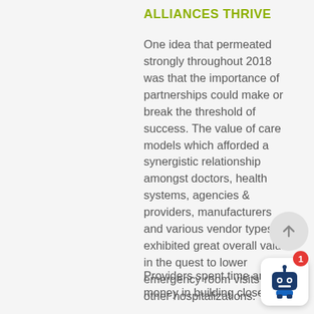ALLIANCES THRIVE
One idea that permeated strongly throughout 2018 was that the importance of partnerships could make or break the threshold of success. The value of care models which afforded a synergistic relationship amongst doctors, health systems, agencies & providers, manufacturers and various vendor types, exhibited great overall value in the quest to lower emergency room visits and other hospitalizations.
Providers spent time and money in building close ties
[Figure (other): Scroll-up button (circular arrow up icon) and chatbot icon with notification badge showing '1']